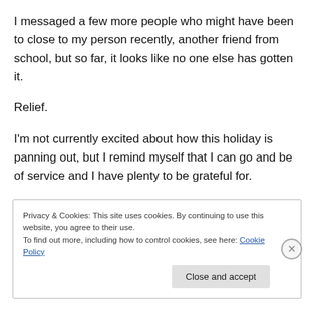I messaged a few more people who might have been to close to my person recently, another friend from school, but so far, it looks like no one else has gotten it.
Relief.
I'm not currently excited about how this holiday is panning out, but I remind myself that I can go and be of service and I have plenty to be grateful for.
In the end.
Privacy & Cookies: This site uses cookies. By continuing to use this website, you agree to their use.
To find out more, including how to control cookies, see here: Cookie Policy
Close and accept